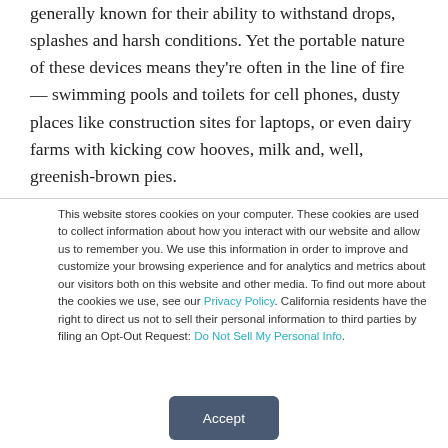generally known for their ability to withstand drops, splashes and harsh conditions. Yet the portable nature of these devices means they're often in the line of fire — swimming pools and toilets for cell phones, dusty places like construction sites for laptops, or even dairy farms with kicking cow hooves, milk and, well, greenish-brown pies.
This website stores cookies on your computer. These cookies are used to collect information about how you interact with our website and allow us to remember you. We use this information in order to improve and customize your browsing experience and for analytics and metrics about our visitors both on this website and other media. To find out more about the cookies we use, see our Privacy Policy. California residents have the right to direct us not to sell their personal information to third parties by filing an Opt-Out Request: Do Not Sell My Personal Info.